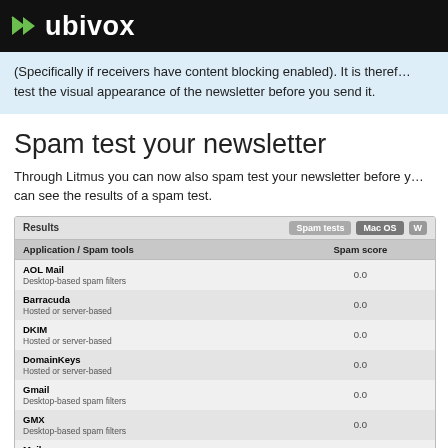ubivox
(Specifically if receivers have content blocking enabled). It is therefore important to test the visual appearance of the newsletter before you send it.
Spam test your newsletter
Through Litmus you can now also spam test your newsletter before you send it. Below you can see the results of a spam test.
| Application / Spam tools | Spam score |
| --- | --- |
| AOL Mail
Desktop-based spam filters | 0.0 |
| Barracuda
Hosted or server-based | 0.0 |
| DKIM
Hosted or server-based | 0.0 |
| DomainKeys
Hosted or server-based | 0.0 |
| Gmail
Desktop-based spam filters | 0.0 |
| GMX
Desktop-based spam filters | 0.0 |
| Mail.com
Desktop-based spam filters | 0.0 |
| MessageLabs
Hosted or server-based | 1.0 |